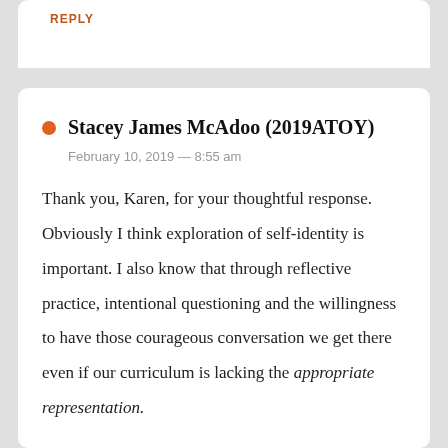REPLY
Stacey James McAdoo (2019ATOY)
February 10, 2019 — 8:55 am
Thank you, Karen, for your thoughtful response. Obviously I think exploration of self-identity is important. I also know that through reflective practice, intentional questioning and the willingness to have those courageous conversation we get there even if our curriculum is lacking the appropriate representation.